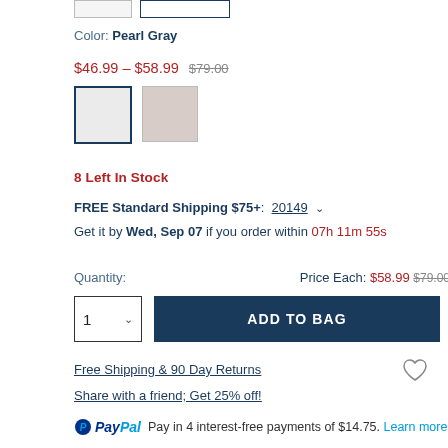Color: Pearl Gray
$46.99 – $58.99  $79.00
[Figure (photo): Two fabric color swatches: white/light gray (selected) and dusty rose/mauve]
8 Left In Stock
FREE Standard Shipping $75+:  20149 ∨
Get it by Wed, Sep 07 if you order within 07h 11m 55s
Quantity:
Price Each: $58.99  $79.00
1  ADD TO BAG
Free Shipping & 90 Day Returns
Share with a friend; Get 25% off!
Pay in 4 interest-free payments of $14.75. Learn more